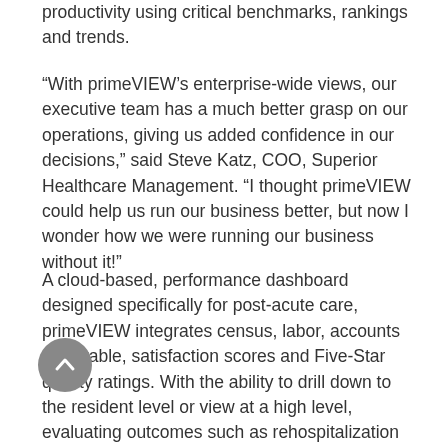productivity using critical benchmarks, rankings and trends.
“With primeVIEW’s enterprise-wide views, our executive team has a much better grasp on our operations, giving us added confidence in our decisions,” said Steve Katz, COO, Superior Healthcare Management. “I thought primeVIEW could help us run our business better, but now I wonder how we were running our business without it!”
A cloud-based, performance dashboard designed specifically for post-acute care, primeVIEW integrates census, labor, accounts receivable, satisfaction scores and Five-Star quality ratings. With the ability to drill down to the resident level or view at a high level, evaluating outcomes such as rehospitalization rate by admitting hospital, facility or diagnosis is quick and easy. The primeVIEW app also syncs resident-level data with associated MDS and UDA reports, resulting in better decision-making and risk mitigation.